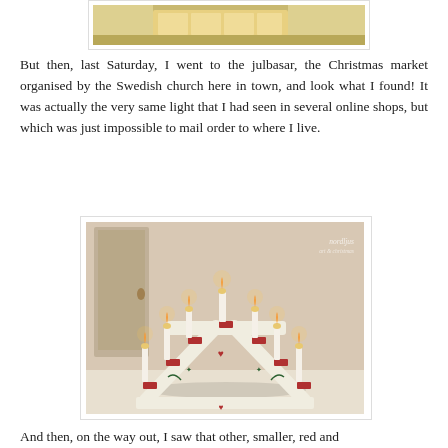[Figure (photo): Partial view of wooden objects on a white surface, cropped at top of page]
But then, last Saturday, I went to the julbasar, the Christmas market organised by the Swedish church here in town, and look what I found! It was actually the very same light that I had seen in several online shops, but which was just impossible to mail order to where I live.
[Figure (photo): A Swedish advent candlestick bridge (julstjärna/adventsljusstake) with 7 white candles lit, painted white with red and green folk art decorations including hearts and leaves, on a white surface. Watermark 'nordljus' visible in top right corner.]
And then, on the way out, I saw that other, smaller, red and